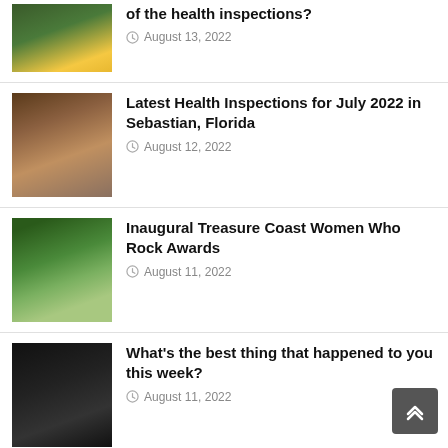of the health inspections? — August 13, 2022
Latest Health Inspections for July 2022 in Sebastian, Florida — August 12, 2022
Inaugural Treasure Coast Women Who Rock Awards — August 11, 2022
What's the best thing that happened to you this week? — August 11, 2022
Things To Do in Sebastian: Grill Out Night, Bike Night, Reggae Series, Live Music — August 10, 2022